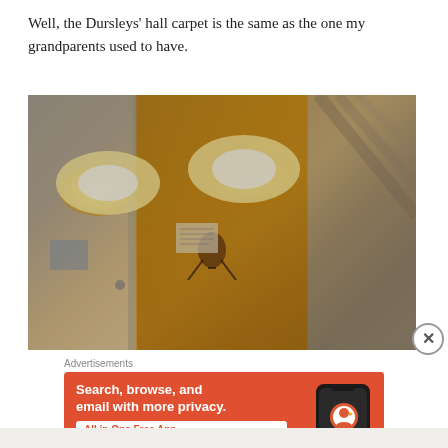Well, the Dursleys' hall carpet is the same as the one my grandparents used to have.
[Figure (photo): A dimly lit hallway interior showing a door and wall illuminated by warm orange-yellow light fixtures. A decorative figure or ornament is visible on the wall between two bright lights.]
Advertisements
[Figure (screenshot): DuckDuckGo advertisement on orange background. Text: 'Search, browse, and email with more privacy. All in One Free App' with DuckDuckGo logo and phone image.]